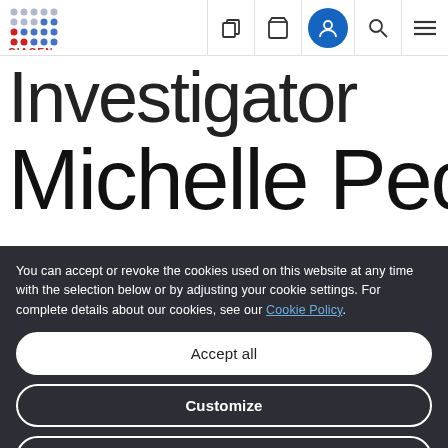[Figure (logo): QIAGEN logo with blue dot grid and red dots]
Navigation bar with icons: queue, cart, user account, search, menu
Investigator
Michelle Peck
You can accept or revoke the cookies used on this website at any time with the selection below or by adjusting your cookie settings. For complete details about our cookies, see our Cookie Policy.
Accept all
Customize
Only necessary